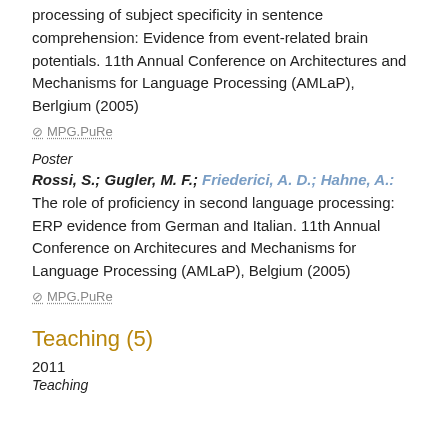processing of subject specificity in sentence comprehension: Evidence from event-related brain potentials. 11th Annual Conference on Architectures and Mechanisms for Language Processing (AMLaP), Berlgium (2005)
⊘ MPG.PuRe
Poster
Rossi, S.; Gugler, M. F.; Friederici, A. D.; Hahne, A.: The role of proficiency in second language processing: ERP evidence from German and Italian. 11th Annual Conference on Architecures and Mechanisms for Language Processing (AMLaP), Belgium (2005)
⊘ MPG.PuRe
Teaching (5)
2011
Teaching